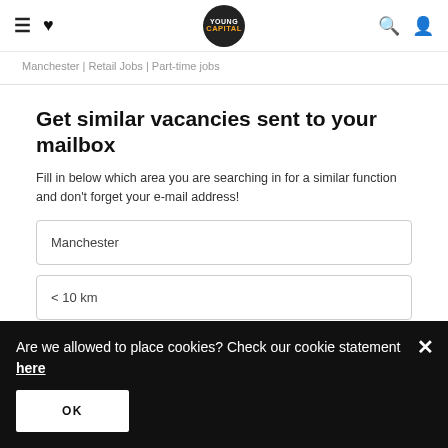YoungCapital — hamburger menu, favorites, logo, search, user account
Manchester | Retail Jobs | Part-time jobs
Get similar vacancies sent to your mailbox
Fill in below which area you are searching in for a similar function and don't forget your e-mail address!
Manchester
< 10 km
Are we allowed to place cookies? Check our cookie statement here
OK